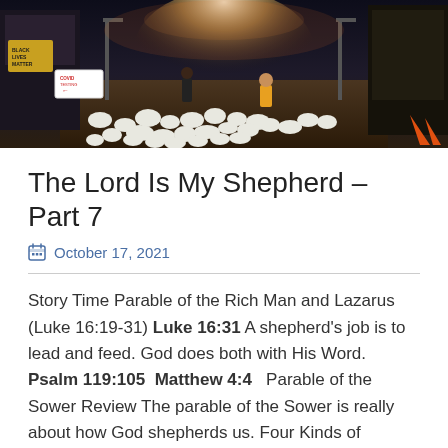[Figure (photo): A surreal photograph showing a shepherd guiding a large flock of white sheep/chickens through a city street at night, with a COVID testing sign visible on the left, a Black Lives Matter sign, city buildings, street lights, and a person in a yellow vest standing in the street. The scene is dramatically lit with warm orange and white light at the end of the street.]
The Lord Is My Shepherd – Part 7
October 17, 2021
Story Time Parable of the Rich Man and Lazarus (Luke 16:19-31) Luke 16:31 A shepherd's job is to lead and feed. God does both with His Word. Psalm 119:105  Matthew 4:4   Parable of the Sower Review The parable of the Sower is really about how God shepherds us. Four Kinds of Soil/Four Kinds of L ...